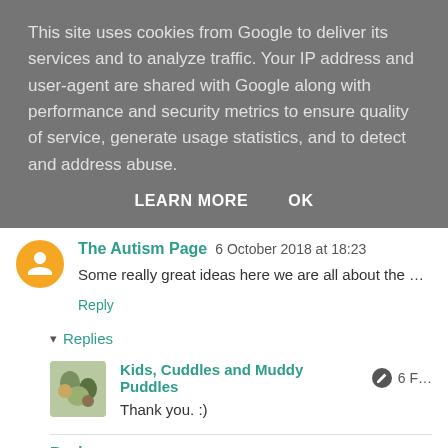This site uses cookies from Google to deliver its services and to analyze traffic. Your IP address and user-agent are shared with Google along with performance and security metrics to ensure quality of service, generate usage statistics, and to detect and address abuse.
LEARN MORE   OK
The Autism Page 6 October 2018 at 18:23
Some really great ideas here we are all about the m…
Reply
▾ Replies
Kids, Cuddles and Muddy Puddles 6 F…
Thank you. :)
Reply